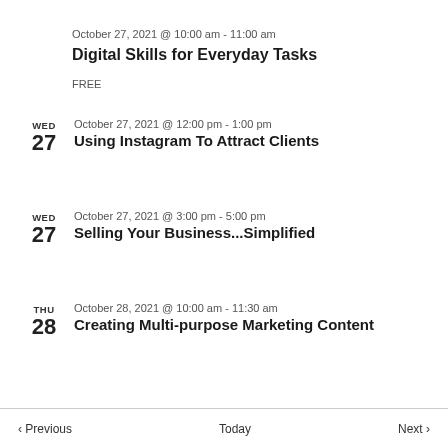October 27, 2021 @ 10:00 am - 11:00 am
Digital Skills for Everyday Tasks
FREE
WED 27 October 27, 2021 @ 12:00 pm - 1:00 pm
Using Instagram To Attract Clients
WED 27 October 27, 2021 @ 3:00 pm - 5:00 pm
Selling Your Business...Simplified
THU 28 October 28, 2021 @ 10:00 am - 11:30 am
Creating Multi-purpose Marketing Content
< Previous   Today   Next >